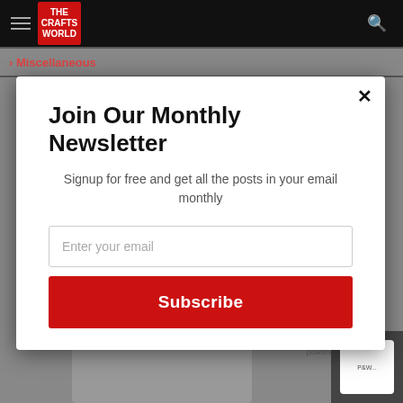[Figure (screenshot): Website navigation bar with hamburger menu, The Crafts World logo (red heart), and search icon on black background]
Miscellaneous
Join Our Monthly Newsletter
Signup for free and get all the posts in your email monthly
Enter your email
Subscribe
They are talking about me at
powered by MailMunch